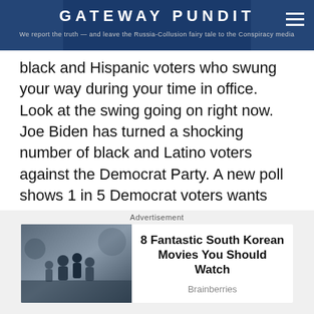GATEWAY PUNDIT — We report the truth — and leave the Russia-Collusion fairy tale to the Conspiracy media
black and Hispanic voters who swung your way during your time in office. Look at the swing going on right now. Joe Biden has turned a shocking number of black and Latino voters against the Democrat Party. A new poll shows 1 in 5 Democrat voters wants Trump back as president!
This proven ability opens the door for an opportunity to change the political landscape like this country has never seen. And, it begins now in
Advertisement
[Figure (photo): Movie scene showing group of people running, promotional image for Korean movies article]
8 Fantastic South Korean Movies You Should Watch
Brainberries